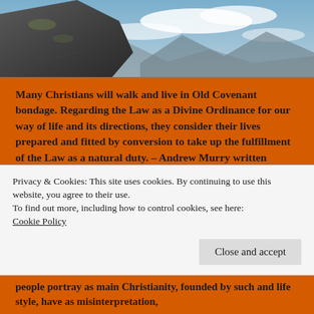[Figure (photo): Photograph of a large rock in the foreground with a mountainous landscape and cloudy sky in the background.]
Many Christians will walk and live in Old Covenant bondage. Regarding the Law as a Divine Ordinance for our way of life and its directions, they consider their lives prepared and fitted by conversion to take up the fulfillment of the Law as a natural duty. – Andrew Murry written during his lifetime – 1828-1917.
To many people in this world they think of Christianity like this since that is what they observe in so called Christians.
Privacy & Cookies: This site uses cookies. By continuing to use this website, you agree to their use.
To find out more, including how to control cookies, see here:
Cookie Policy
people portray as main Christianity, founded by such and life style, have as misinterpretation,